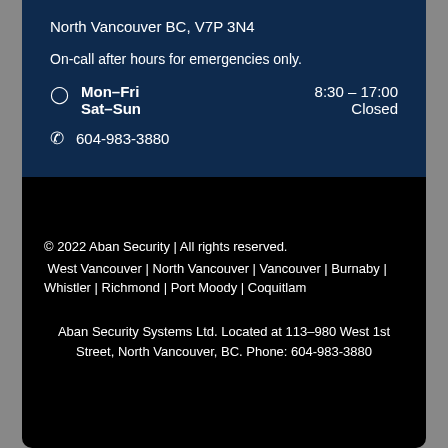North Vancouver BC, V7P 3N4
On-call after hours for emergencies only.
Mon–Fri  8:30 – 17:00
Sat–Sun  Closed
604-983-3880
© 2022 Aban Security | All rights reserved.
West Vancouver | North Vancouver | Vancouver | Burnaby | Whistler | Richmond | Port Moody | Coquitlam
Aban Security Systems Ltd. Located at 113–980 West 1st Street, North Vancouver, BC. Phone: 604-983-3880